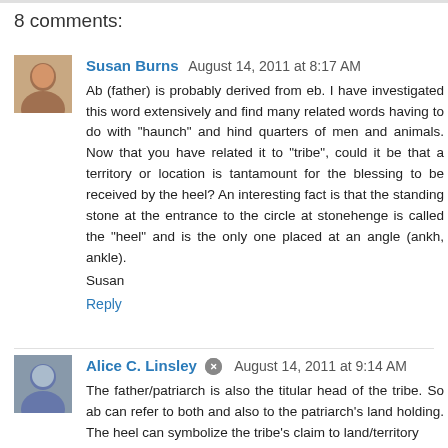8 comments:
Susan Burns  August 14, 2011 at 8:17 AM
Ab (father) is probably derived from eb. I have investigated this word extensively and find many related words having to do with "haunch" and hind quarters of men and animals. Now that you have related it to "tribe", could it be that a territory or location is tantamount for the blessing to be received by the heel? An interesting fact is that the standing stone at the entrance to the circle at stonehenge is called the "heel" and is the only one placed at an angle (ankh, ankle).
Susan
Reply
Alice C. Linsley  August 14, 2011 at 9:14 AM
The father/patriarch is also the titular head of the tribe. So ab can refer to both and also to the patriarch's land holding. The heel can symbolize the tribe's claim to land/territory